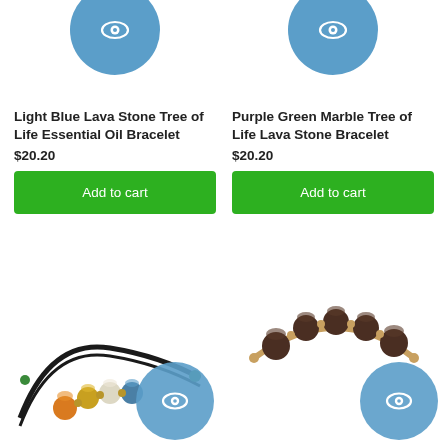[Figure (photo): Light Blue Lava Stone Tree of Life Essential Oil Bracelet product image with blue eye-icon overlay circle, partially cropped at top]
[Figure (photo): Purple Green Marble Tree of Life Lava Stone Bracelet product image with blue eye-icon overlay circle, partially cropped at top]
Light Blue Lava Stone Tree of Life Essential Oil Bracelet
$20.20
Add to cart
Purple Green Marble Tree of Life Lava Stone Bracelet
$20.20
Add to cart
[Figure (photo): Colorful lava stone macrame bracelet with orange, yellow, white, blue, and green beads on black cord, with blue eye-icon overlay circle]
[Figure (photo): Gold bangle bracelet with dark brown lava stone beads, with blue eye-icon overlay circle]